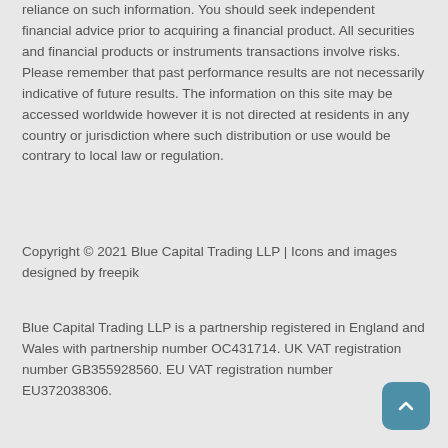reliance on such information. You should seek independent financial advice prior to acquiring a financial product. All securities and financial products or instruments transactions involve risks. Please remember that past performance results are not necessarily indicative of future results. The information on this site may be accessed worldwide however it is not directed at residents in any country or jurisdiction where such distribution or use would be contrary to local law or regulation.
Copyright © 2021 Blue Capital Trading LLP | Icons and images designed by freepik
Blue Capital Trading LLP is a partnership registered in England and Wales with partnership number OC431714. UK VAT registration number GB355928560. EU VAT registration number EU372038306.